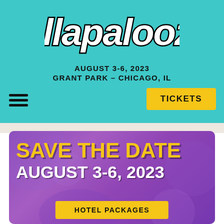[Figure (logo): Lollapalooza logo in black and white bubble letters on teal background]
AUGUST 3-6, 2023
GRANT PARK – CHICAGO, IL
[Figure (other): Hamburger menu icon (three horizontal lines)]
[Figure (other): Yellow TICKETS button]
[Figure (photo): Hero image with purple background showing crowd, with text SAVE THE DATE AUGUST 3-6, 2023 and HOTEL PACKAGES button]